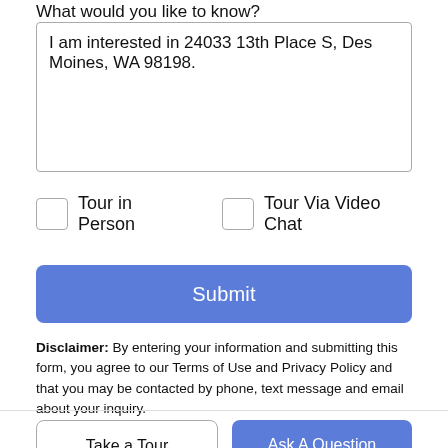What would you like to know?
I am interested in 24033 13th Place S, Des Moines, WA 98198.
Tour in Person
Tour Via Video Chat
Submit
Disclaimer: By entering your information and submitting this form, you agree to our Terms of Use and Privacy Policy and that you may be contacted by phone, text message and email about your inquiry.
Take a Tour
Ask A Question